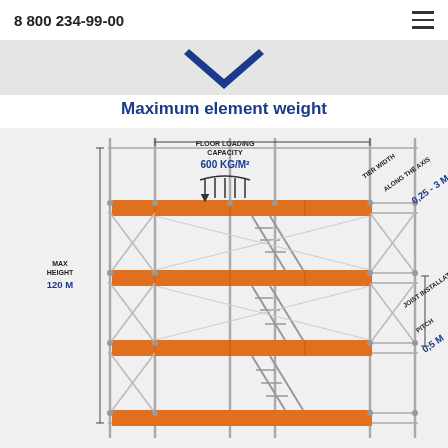8 800 234-99-00
Maximum element weight
[Figure (engineering-diagram): Technical scaffolding diagram showing a multi-tier scaffold structure with labeled specifications: MAX HEIGHT 120 M, FLOOR LOADING CAPACITY 600 KG/M², TIER WIDTH ALONG THE AXIS 0.25 - 3 M, JOIST INSTALLATION PITCH 0.5 M. The scaffold has orange horizontal deck boards, grey metal frame tubes, diagonal bracing, and a ladder. Arrows indicate floor loading from above. Dimension lines mark height and width measurements.]